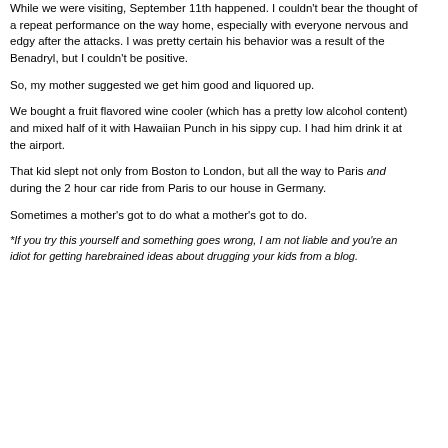While we were visiting, September 11th happened. I couldn't bear the thought of a repeat performance on the way home, especially with everyone nervous and edgy after the attacks. I was pretty certain his behavior was a result of the Benadryl, but I couldn't be positive.
So, my mother suggested we get him good and liquored up.
We bought a fruit flavored wine cooler (which has a pretty low alcohol content) and mixed half of it with Hawaiian Punch in his sippy cup. I had him drink it at the airport.
That kid slept not only from Boston to London, but all the way to Paris and during the 2 hour car ride from Paris to our house in Germany.
Sometimes a mother's got to do what a mother's got to do.
*If you try this yourself and something goes wrong, I am not liable and you're an idiot for getting harebrained ideas about drugging your kids from a blog.